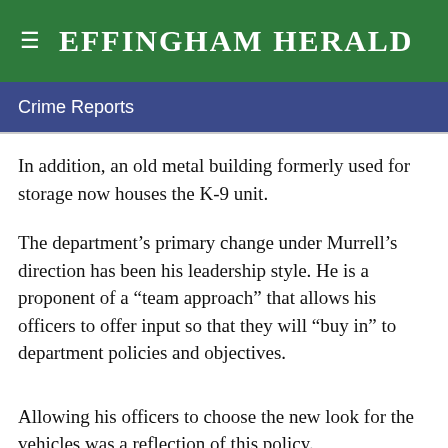Effingham Herald
Crime Reports
In addition, an old metal building formerly used for storage now houses the K-9 unit.
The department’s primary change under Murrell’s direction has been his leadership style. He is a proponent of a “team approach” that allows his officers to offer input so that they will “buy in” to department policies and objectives.
Allowing his officers to choose the new look for the vehicles was a reflection of this policy.
Murrell said it will take a few years for all the